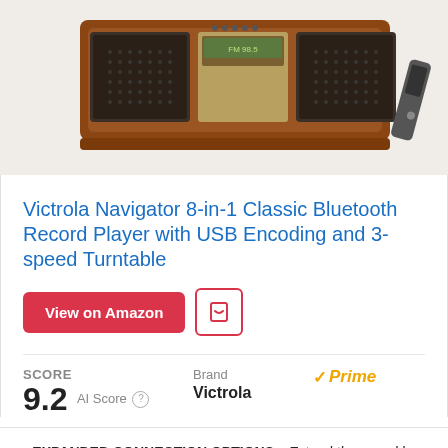[Figure (photo): Victrola Navigator 8-in-1 Classic Bluetooth Record Player product photo showing a vintage-style wooden turntable with speakers and remote control]
Victrola Navigator 8-in-1 Classic Bluetooth Record Player with USB Encoding and 3-speed Turntable
View on Amazon [button] [save button]
SCORE 9.2 AI Score | Brand Victrola | Prime
EXPANDED CONNECTION OPTIONS – Extend the sound by connecting external speakers or an amplifier via the RCA Line outputs. For